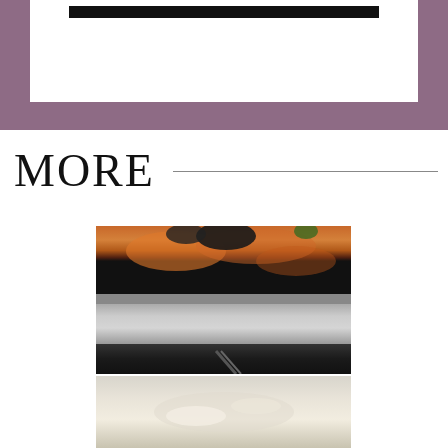[Figure (photo): Top section with mauve/purple background and white card with black bar at top]
MORE
[Figure (photo): Food photograph showing a dish with colorful ingredients on a plate, partially cropped]
[Figure (photo): Second food photograph, bottom portion visible, showing a light-colored dish]